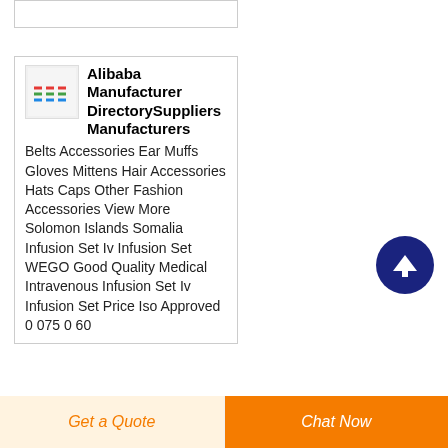Alibaba Manufacturer DirectorySuppliers Manufacturers
Belts Accessories Ear Muffs Gloves Mittens Hair Accessories Hats Caps Other Fashion Accessories View More Solomon Islands Somalia Infusion Set Iv Infusion Set WEGO Good Quality Medical Intravenous Infusion Set Iv Infusion Set Price Iso Approved 0 075 0 60